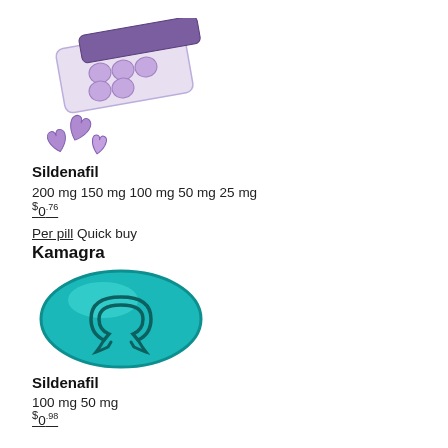[Figure (illustration): Purple pill blister pack with heart-shaped pills scattered in front]
Sildenafil
200 mg 150 mg 100 mg 50 mg 25 mg
$0.76
Per pill Quick buy
Kamagra
[Figure (illustration): Teal/turquoise oval Kamagra pill with logo embossed]
Sildenafil
100 mg 50 mg
$0.98
Per pill Quick buy
Kamagra Chewable